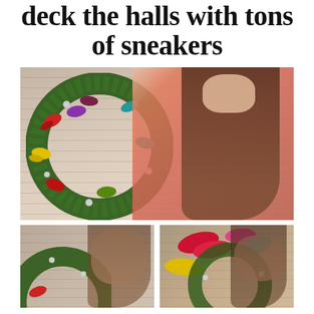deck the halls with tons of sneakers
[Figure (photo): Woman in coral/red top holding a Christmas wreath decorated with colorful sneaker ornaments in various colors (red, yellow, teal, green, purple) and silver ball ornaments. Background has handwritten text pattern.]
[Figure (photo): Woman holding a Christmas wreath with colorful sneaker ornaments, close-up portrait shot with handwritten text patterned background.]
[Figure (photo): Woman with colorful sneaker ornaments (red, yellow, teal, pink) in Christmas wreath setting, close-up portrait.]